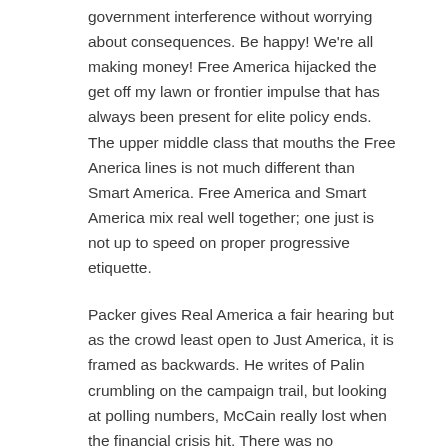government interference without worrying about consequences. Be happy! We're all making money! Free America hijacked the get off my lawn or frontier impulse that has always been present for elite policy ends. The upper middle class that mouths the Free Anerica lines is not much different than Smart America. Free America and Smart America mix real well together; one just is not up to speed on proper progressive etiquette.
Packer gives Real America a fair hearing but as the crowd least open to Just America, it is framed as backwards. He writes of Palin crumbling on the campaign trail, but looking at polling numbers, McCain really lost when the financial crisis hit. There was no surviving that nor the well oiled Obama campaign. Packer portrays her as in touch with an America dead a